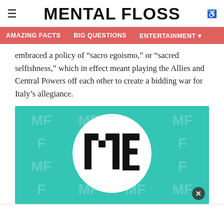MENTAL FLOSS
AMAZING FACTS   BIG QUESTIONS   ENTERTAINMENT
embraced a policy of “sacro egoismo,” or “sacred selfishness,” which in effect meant playing the Allies and Central Powers off each other to create a bidding war for Italy’s allegiance.
[Figure (logo): Mental Floss logo: teal background with repeating 'MF' watermark pattern and a white circle containing bold black 'MF' text in the center]